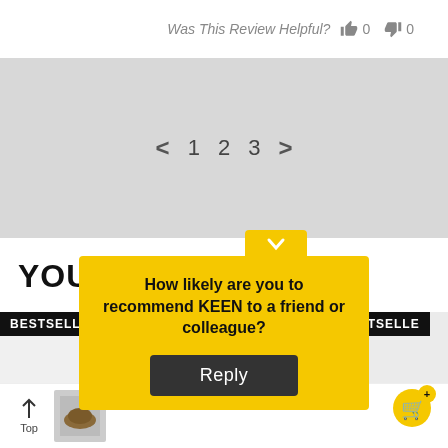Was This Review Helpful?  👍 0  👎 0
[Figure (screenshot): Pagination controls showing left arrow, page numbers 1 2 3, and right arrow on a gray background]
YOU MAY ALSO LIKE
[Figure (screenshot): Bestseller product card on the left and partial bestseller card on the right]
How likely are you to recommend KEEN to a friend or colleague?
Reply
Top